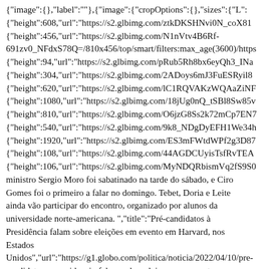{"image":{},"label":""},{"image":{"cropOptions":{},"sizes":{"L": {"height":608,"url":"https://s2.glbimg.com/ztkDKSHNvi0N_coX81 {"height":456,"url":"https://s2.glbimg.com/N1nVtv4B6Rf-691zv0_NFdxS78Q=/810x456/top/smart/filters:max_age(3600)/https {"height":94,"url":"https://s2.glbimg.com/pRub5Rh8bx6eyQh3_INa {"height":304,"url":"https://s2.glbimg.com/2ADoys6mJ3FuESRyil8 {"height":620,"url":"https://s2.glbimg.com/lC1RQVAKzWQAaZiNF {"height":1080,"url":"https://s2.glbimg.com/18jUg0nQ_tSBl8Sw85v {"height":810,"url":"https://s2.glbimg.com/O6jzG8Ss2k72mCp7EN7 {"height":540,"url":"https://s2.glbimg.com/9k8_NDgDyEFH1We34h {"height":1920,"url":"https://s2.glbimg.com/ES3mFWtdWPf2g3D87 {"height":108,"url":"https://s2.glbimg.com/44AGDCUyisTsfRvTEA {"height":106,"url":"https://s2.glbimg.com/MyNDQRbismVq2fS9S0 ministro Sergio Moro foi sabatinado na tarde do sábado, e Ciro Gomes foi o primeiro a falar no domingo. Tebet, Doria e Leite ainda vão participar do encontro, organizado por alunos da universidade norte-americana. ","title":"Pré-candidatos à Presidência falam sobre eleições em evento em Harvard, nos Estados Unidos","url":"https://g1.globo.com/politica/noticia/2022/04/10/pre-candidatos-a-presidencia-falam-sobre-eleicoes-em-evento-em-harvard-nos-estados-unidos.ghtml","video": {"duration":348882,"id":10414175,"kind":"Video","previewUrl":"", GloboNews edição das 18h","trademark":"https://s3.glbimg.com/v1/AUTH_180b9dd048d94